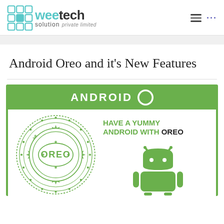WeeTech Solution Private Limited
Android Oreo and it's New Features
[Figure (infographic): Android Oreo infographic with green background. Header reads 'ANDROID O' in white bold text with a white O circle logo. Below shows an Oreo cookie illustration in green on white background on the left, and on the right 'HAVE A YUMMY ANDROID WITH OREO' text in green and black, plus a green Android robot mascot.]